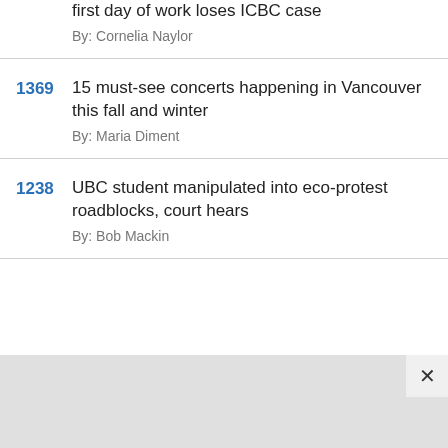first day of work loses ICBC case
By: Cornelia Naylor
1369 15 must-see concerts happening in Vancouver this fall and winter
By: Maria Diment
1238 UBC student manipulated into eco-protest roadblocks, court hears
By: Bob Mackin